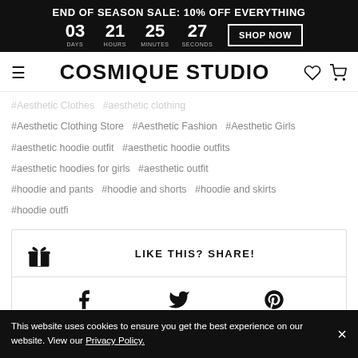END OF SEASON SALE: 10% OFF EVERYTHING | 03 DAYS 21 HOURS 25 MINUTES 27 SECONDS | SHOP NOW
COSMIQUE STUDIO
#Aesthetic Clothes #aesthetic clothing
#Aesthetic Clothing Store  #Aesthetic Fashion  #Aesthetic Girls
#aesthetic hoodie outfit  #aesthetic hoodie outfits
#aesthetic hoodies for girls  #aesthetic outfit
#hoodie and pants  #hoodie and shorts  #hoodie and skirts
#hoodie outfi
LIKE THIS? SHARE!
This website uses cookies to ensure you get the best experience on our website. View our Privacy Policy.